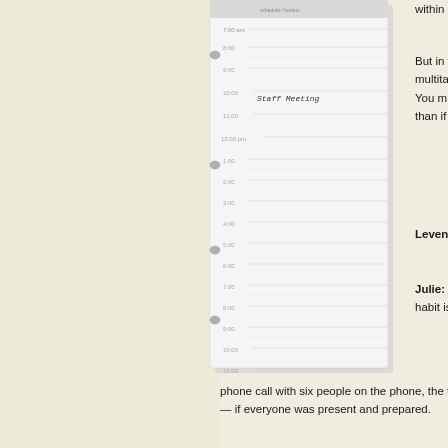[Figure (photo): A Levenger day planner / daily schedule page showing hourly time slots from 7:00am through 11:00, with 'Staff Meeting' handwritten at the 10:00 slot. The planner has a spiral/disc binding on the left side, ruled lines and time labels.]
within arm's reach, you struggle with the task.
But in the past several years, we've seen study after study, that show that we can't multitask tasks. You're on the phone and you've got the report on your computer. You might feel efficient, but it's going to take you two or three times longer to do it than if you'd just been working on whichever task you chose.
Levenger: So it's better to single-task each task, even if briefly?
Julie: Right. It's better to do it. Also, brain science has shown that the multi-tasking habit is a learned behavior — you have to learn it again. If you're on a conference phone call with six people on the phone, the truth nobody is actually paying attention at the same time. That's why needing four or five meetings when one would suffice — if everyone was present and prepared.
Levenger: Because they're also checking email on their desk.